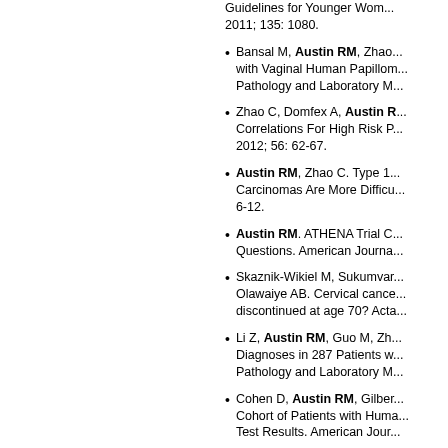Guidelines for Younger Wom... 2011; 135: 1080.
Bansal M, Austin RM, Zhao... with Vaginal Human Papillom... Pathology and Laboratory M...
Zhao C, Domfex A, Austin R... Correlations For High Risk P... 2012; 56: 62-67.
Austin RM, Zhao C. Type 1... Carcinomas Are More Difficu... 6-12.
Austin RM. ATHENA Trial C... Questions. American Journa...
Skaznik-Wikiel M, Sukumvar... Olawaiye AB. Cervical cance... discontinued at age 70? Acta...
Li Z, Austin RM, Guo M, Zh... Diagnoses in 287 Patients w... Pathology and Laboratory M...
Cohen D, Austin RM, Gilber... Cohort of Patients with Huma... Test Results. American Jour...
Austin RM, Zhao C. How sh... Journal of Clinical Pathology...